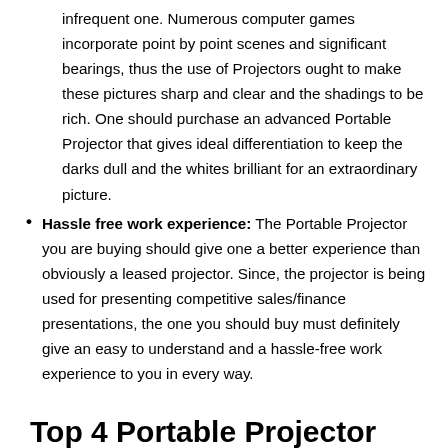infrequent one. Numerous computer games incorporate point by point scenes and significant bearings, thus the use of Projectors ought to make these pictures sharp and clear and the shadings to be rich. One should purchase an advanced Portable Projector that gives ideal differentiation to keep the darks dull and the whites brilliant for an extraordinary picture.
Hassle free work experience: The Portable Projector you are buying should give one a better experience than obviously a leased projector. Since, the projector is being used for presenting competitive sales/finance presentations, the one you should buy must definitely give an easy to understand and a hassle-free work experience to you in every way.
Top 4 Portable Projector Reviews of 2019